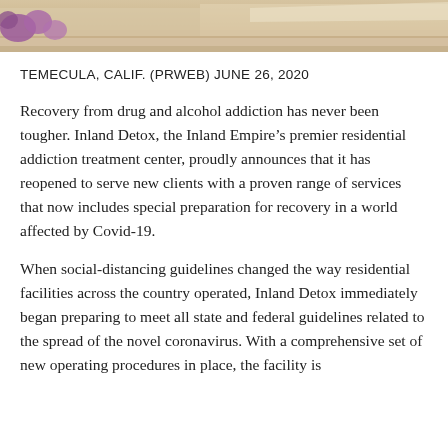[Figure (photo): Partial top photo showing a building exterior with purple flowering plants and sandy/stone ground]
TEMECULA, CALIF. (PRWEB) JUNE 26, 2020
Recovery from drug and alcohol addiction has never been tougher. Inland Detox, the Inland Empire’s premier residential addiction treatment center, proudly announces that it has reopened to serve new clients with a proven range of services that now includes special preparation for recovery in a world affected by Covid-19.
When social-distancing guidelines changed the way residential facilities across the country operated, Inland Detox immediately began preparing to meet all state and federal guidelines related to the spread of the novel coronavirus. With a comprehensive set of new operating procedures in place, the facility is